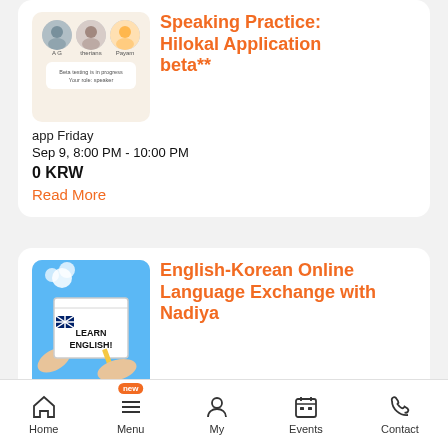[Figure (screenshot): App screenshot showing a beta meeting in progress with three avatars (A.G., therians, Payam) on a cream background with text 'Beta testing is in progress. Your role: speaker']
Speaking Practice: Hilokal Application beta**
app Friday
Sep 9, 8:00 PM - 10:00 PM
0 KRW
Read More
[Figure (photo): Photo of hands holding a 'LEARN ENGLISH!' notebook with British flag sticker and pencil on blue background]
English-Korean Online Language Exchange with Nadiya
Home   Menu   My   Events   Contact